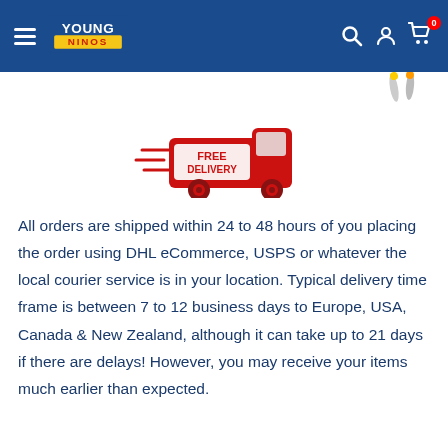Young Ninos — Navigation header with logo, search, account, and cart icons
[Figure (illustration): Red free delivery truck with FREE DELIVERY text on side, with speed lines]
All orders are shipped within 24 to 48 hours of you placing the order using DHL eCommerce, USPS or whatever the local courier service is in your location. Typical delivery time frame is between 7 to 12 business days to Europe, USA, Canada & New Zealand, although it can take up to 21 days if there are delays! However, you may receive your items much earlier than expected.